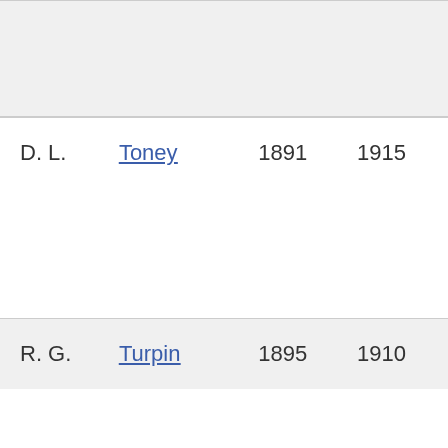| First | Last | Year1 | Year2 |
| --- | --- | --- | --- |
| D. L. | Toney | 1891 | 1915 |
| R. G. | Turpin | 1895 | 1910 |